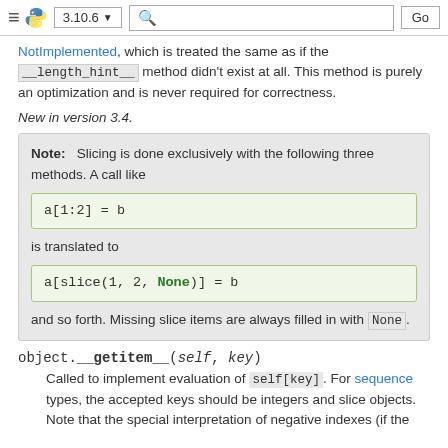≡ [Python logo] 3.10.6 ▼  [search]  Go
NotImplemented, which is treated the same as if the __length_hint__ method didn't exist at all. This method is purely an optimization and is never required for correctness.
New in version 3.4.
Note: Slicing is done exclusively with the following three methods. A call like

a[1:2] = b

is translated to

a[slice(1, 2, None)] = b

and so forth. Missing slice items are always filled in with None.
object.__getitem__(self, key)
Called to implement evaluation of self[key]. For sequence types, the accepted keys should be integers and slice objects. Note that the special interpretation of negative indexes (if the